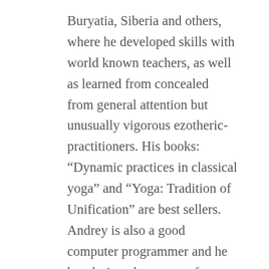Buryatia, Siberia and others, where he developed skills with world known teachers, as well as learned from concealed from general attention but unusually vigorous ezotheric-practitioners. His books: “Dynamic practices in classical yoga” and “Yoga: Tradition of Unification” are best sellers. Andrey is also a good computer programmer and he has designed programs for teaching yoga which have proven to be very useful for his many students.
Having exceptional psychic-energetic abilities and posses key principals of Yoga he uses in his practice powerful and effective Universal Style. This Style unites the best sides of other existing styles and foundings, as well as all life experience, which is tied to Yoga from anyone